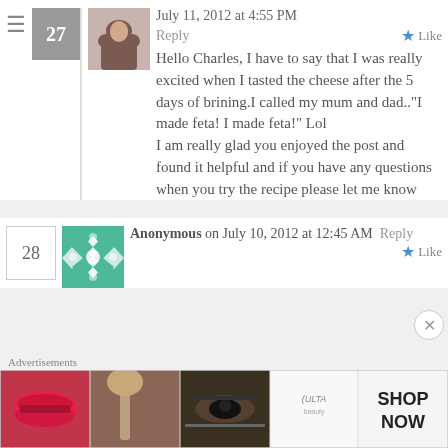July 11, 2012 at 4:55 PM
Reply
Like
Hello Charles, I have to say that I was really excited when I tasted the cheese after the 5 days of brining.I called my mum and dad.."I made feta! I made feta!" Lol
I am really glad you enjoyed the post and found it helpful and if you have any questions when you try the recipe please let me know
Anonymous on July 10, 2012 at 12:45 AM
Reply
Like
Advertisements
[Figure (photo): ULTA beauty advertisement banner with makeup images and SHOP NOW call to action]